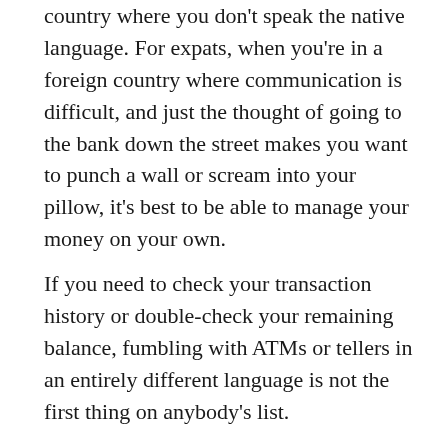country where you don't speak the native language. For expats, when you're in a foreign country where communication is difficult, and just the thought of going to the bank down the street makes you want to punch a wall or scream into your pillow, it's best to be able to manage your money on your own.
If you need to check your transaction history or double-check your remaining balance, fumbling with ATMs or tellers in an entirely different language is not the first thing on anybody's list.